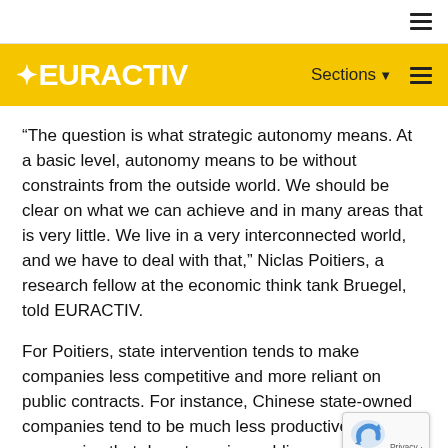EURACTIV – Sections
“The question is what strategic autonomy means. At a basic level, autonomy means to be without constraints from the outside world. We should be clear on what we can achieve and in many areas that is very little. We live in a very interconnected world, and we have to deal with that,” Niclas Poitiers, a research fellow at the economic think tank Bruegel, told EURACTIV.
For Poitiers, state intervention tends to make companies less competitive and more reliant on public contracts. For instance, Chinese state-owned companies tend to be much less productive than companies that do not receive public support.
In terms of state interventions, Poitiers makes a